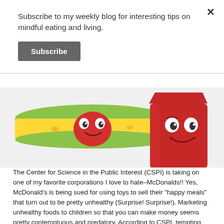Subscribe to my weekly blog for interesting tips on mindful eating and living.
Subscribe
[Figure (illustration): Cartoon characters of animated fast food items: a smiling hot dog/taco and a smiling red french fry container with eyes]
The Center for Science in the Public Interest (CSPI) is taking on one of my favorite corporations I love to hate–McDonalds!! Yes, McDonald's is being sued for using toys to sell their "happy meals" that turn out to be pretty unhealthy (Surprise! Surprise!).  Marketing unhealthy foods to children so that you can make money seems pretty contemptuous and predatory.  According to CSPI, tempting kids with toys is unfair and deceptive.    Children can't really be expected not to fall prey to the marketing of popular toys with their meals or to make informed decisions about the nutritional value of their food.  Parents suffer the pestering of their children who